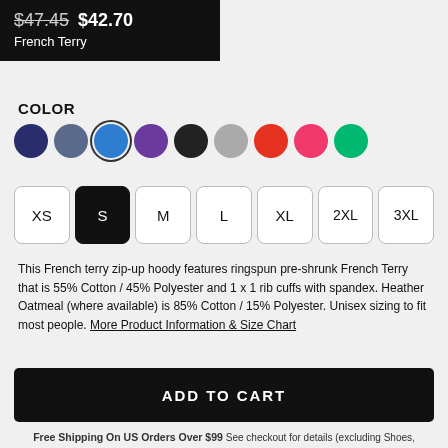$47.45 $42.70
French Terry
COLOR
[Figure (other): Color swatch selector with 9 circular color options: navy, slate blue, royal blue (selected), purple, black, gray, red, pink, green]
[Figure (other): Size selector buttons: XS, S (selected/black), M, L, XL, 2XL, 3XL]
This French terry zip-up hoody features ringspun pre-shrunk French Terry that is 55% Cotton / 45% Polyester and 1 x 1 rib cuffs with spandex. Heather Oatmeal (where available) is 85% Cotton / 15% Polyester. Unisex sizing to fit most people. More Product Information & Size Chart
ADD TO CART
Free Shipping On US Orders Over $99 See checkout for details (excluding Shoes, Skateboards, and some Wall Art)